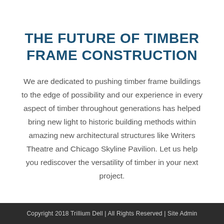THE FUTURE OF TIMBER FRAME CONSTRUCTION
We are dedicated to pushing timber frame buildings to the edge of possibility and our experience in every aspect of timber throughout generations has helped bring new light to historic building methods within amazing new architectural structures like Writers Theatre and Chicago Skyline Pavilion. Let us help you rediscover the versatility of timber in your next project.
Copyright 2018 Trillium Dell | All Rights Reserved | Site Admin